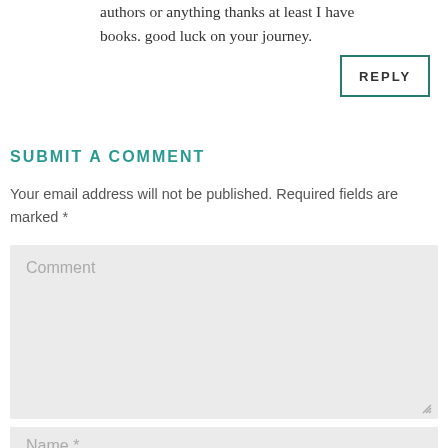authors or anything thanks at least I have books. good luck on your journey.
REPLY
SUBMIT A COMMENT
Your email address will not be published. Required fields are marked *
Comment
Name *